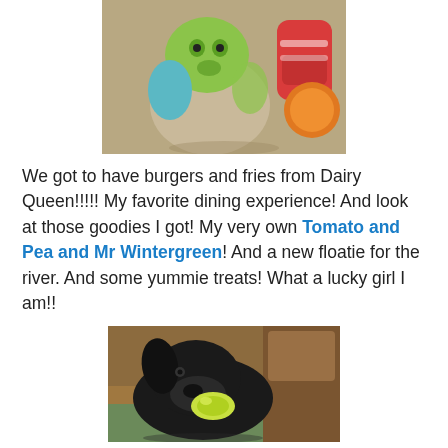[Figure (photo): Photo of stuffed animal toys including a green/teal plush character, a beige/grey plush, and red and orange toys on a carpet surface.]
We got to have burgers and fries from Dairy Queen!!!!! My favorite dining experience! And look at those goodies I got! My very own Tomato and Pea and Mr Wintergreen! And a new floatie for the river. And some yummie treats! What a lucky girl I am!!
[Figure (photo): Photo of a black Labrador dog holding a yellow-green plush toy in its mouth, indoors near wooden furniture.]